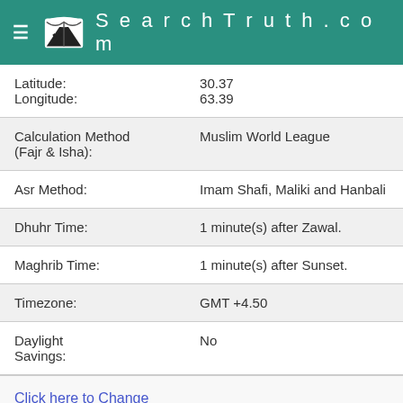SearchTruth.com
| Latitude: | 30.37 |
| Longitude: | 63.39 |
| Calculation Method
(Fajr & Isha): | Muslim World League |
| Asr Method: | Imam Shafi, Maliki and Hanbali |
| Dhuhr Time: | 1 minute(s) after Zawal. |
| Maghrib Time: | 1 minute(s) after Sunset. |
| Timezone: | GMT +4.50 |
| Daylight Savings: | No |
Click here to Change